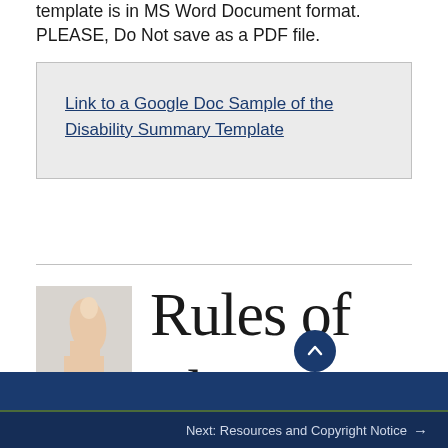template is in MS Word Document format. PLEASE, Do Not save as a PDF file.
Link to a Google Doc Sample of the Disability Summary Template
[Figure (illustration): Partial image showing a hand with thumb up and large serif text reading 'Rules of Th...' with a dark blue circular up-arrow button overlaid on text]
Next: Resources and Copyright Notice →